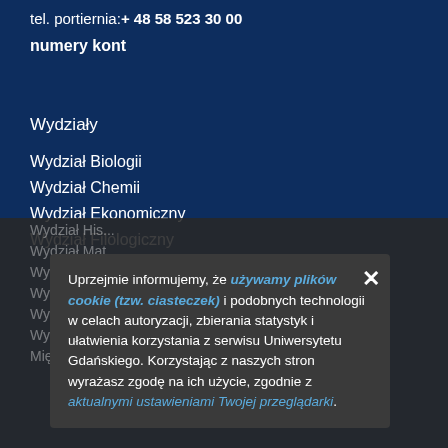tel. portiernia:+ 48 58 523 30 00
numery kont
Wydziały
Wydział Biologii
Wydział Chemii
Wydział Ekonomiczny
Wydział Filologiczny
Uprzejmie informujemy, że używamy plików cookie (tzw. ciasteczek) i podobnych technologii w celach autoryzacji, zbierania statystyk i ułatwienia korzystania z serwisu Uniwersytetu Gdańskiego. Korzystając z naszych stron wyrażasz zgodę na ich użycie, zgodnie z aktualnymi ustawieniami Twojej przeglądarki.